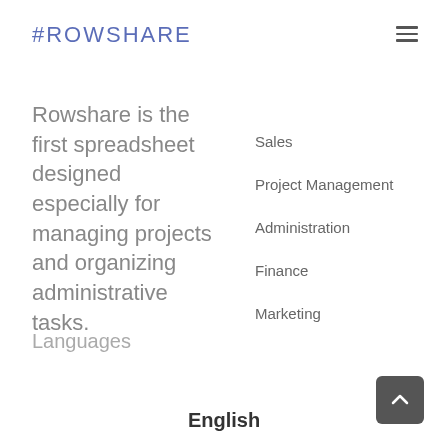#ROWSHARE
Rowshare is the first spreadsheet designed especially for managing projects and organizing administrative tasks.
Sales
Project Management
Administration
Finance
Marketing
Languages
English